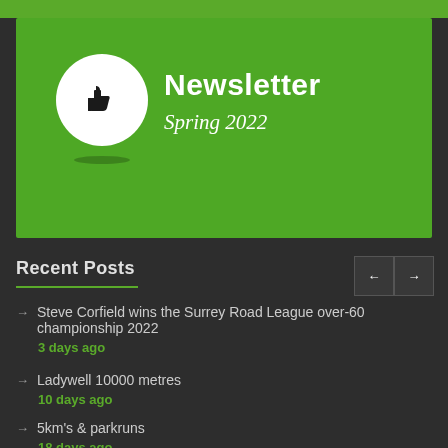[Figure (illustration): Newsletter header card with green background, white circle containing thumbs-up icon, title 'Newsletter' and subtitle 'Spring 2022']
Newsletter
Spring 2022
Recent Posts
Steve Corfield wins the Surrey Road League over-60 championship 2022
3 days ago
Ladywell 10000 metres
10 days ago
5km's & parkruns
18 days ago
Club Meets